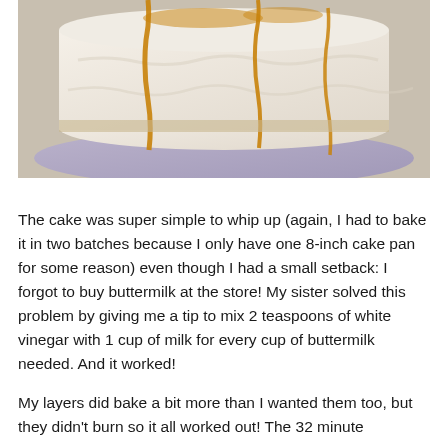[Figure (photo): A white frosted layer cake with caramel drizzle on top, sitting on a decorative plate. The cake has visible layers and rough frosting with caramel sauce dripping down the sides.]
The cake was super simple to whip up (again, I had to bake it in two batches because I only have one 8-inch cake pan for some reason) even though I had a small setback: I forgot to buy buttermilk at the store! My sister solved this problem by giving me a tip to mix 2 teaspoons of white vinegar with 1 cup of milk for every cup of buttermilk needed. And it worked!
My layers did bake a bit more than I wanted them too, but they didn't burn so it all worked out! The 32 minute